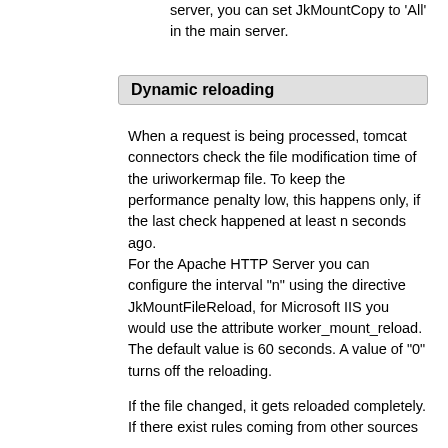server, you can set JkMountCopy to 'All' in the main server.
Dynamic reloading
When a request is being processed, tomcat connectors check the file modification time of the uriworkermap file. To keep the performance penalty low, this happens only, if the last check happened at least n seconds ago.
For the Apache HTTP Server you can configure the interval "n" using the directive JkMountFileReload, for Microsoft IIS you would use the attribute worker_mount_reload. The default value is 60 seconds. A value of "0" turns off the reloading.
If the file changed, it gets reloaded completely. If there exist rules coming from other sources